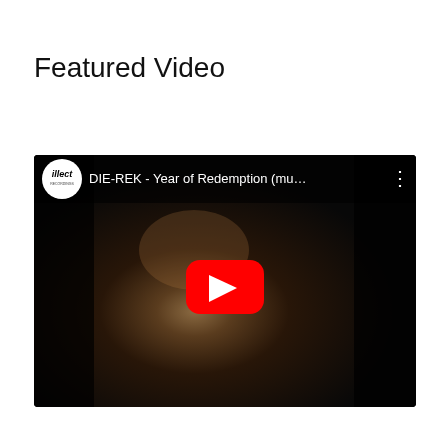Featured Video
[Figure (screenshot): YouTube embedded video player showing 'DIE-REK - Year of Redemption (mu...' with illect Recordings channel logo, dark background showing a man's face with beard, and a red YouTube play button overlay in the center.]